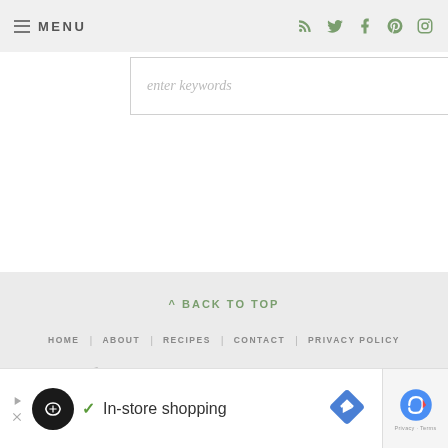MENU (navigation bar with social icons: RSS, Twitter, Facebook, Pinterest, Instagram)
enter keywords
^ BACK TO TOP | HOME | ABOUT | RECIPES | CONTACT | PRIVACY POLICY | ©2022 ITALIAN FOOD FOREVER. DESIGN BY PURR. | AN ELITE CAFEMEDIA FOOD PUBLISHER
[Figure (screenshot): Ad banner: In-store shopping advertisement with logo, checkmark, and navigation arrow icon]